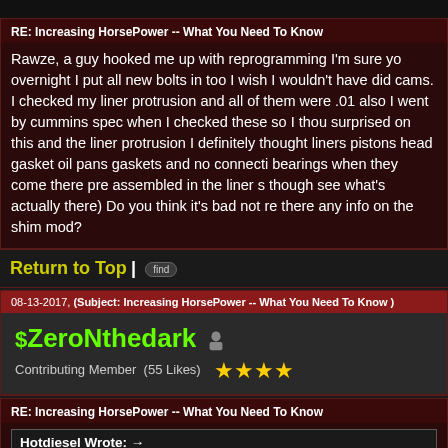RE: Increasing HorsePower -- What You Need To Know
Rawze, a guy hooked me up with reprogramming I'm sure you overnight I put all new bolts in too I wish I wouldn't have did cams. I checked my liner protrusion and all of them were .01 also I went by cummins spec when I checked these so I thou surprised on this and the liner protrusion I definitely thought liners pistons head gasket oil pans gaskets and no connecti bearings when they come there pre assembled in the liner s though see what's actually there) Do you think it's bad not re there any info on the shim mod?
Return to Top | find
08-13-2017, (Subject: Increasing HorsePower -- What You Need To Know )
$ZeroNthedark
Contributing Member  (55 Likes) ★★★★
RE: Increasing HorsePower -- What You Need To Know
Hotdiesel Wrote: